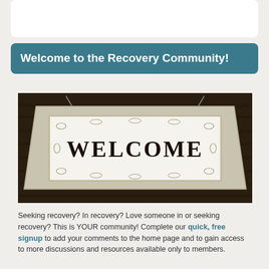Welcome to the Recovery Community!
[Figure (photo): A vintage white metal sign hanging against a dark wood background, with the word WELCOME printed in bold serif letters on the center panel, surrounded by decorative embossed flourishes.]
Seeking recovery? In recovery? Love someone in or seeking recovery? This is YOUR community! Complete our quick, free signup to add your comments to the home page and to gain access to more discussions and resources available only to members.